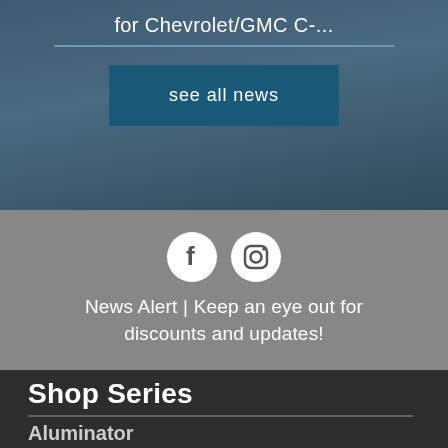for Chevrolet/GMC C-...
see all news
[Figure (illustration): Facebook and Instagram social media icons (white circles with f and camera icons)]
News Alert | Keep an eye out for discounts and updates!
Shop Series
Aluminator
Be Coolant
Bone Yard
Conversion
Crew Chief